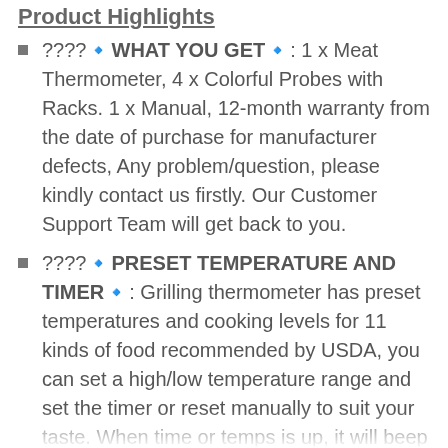Product Highlights
????🔹WHAT YOU GET🔹: 1 x Meat Thermometer, 4 x Colorful Probes with Racks. 1 x Manual, 12-month warranty from the date of purchase for manufacturer defects, Any problem/question, please kindly contact us firstly. Our Customer Support Team will get back to you.
????🔹PRESET TEMPERATURE AND TIMER🔹: Grilling thermometer has preset temperatures and cooking levels for 11 kinds of food recommended by USDA, you can set a high/low temperature range and set the timer or reset manually to suit your taste. When time or temps is up, it will beep and flash with back light. Never worry about overcooking or under-cooking.
????🔹6 PROBE SIMULTANEOUS MONITORING🔹: Comes with 4 probes, this wireless digital cooking thermometer allows you to monitor six different foods...